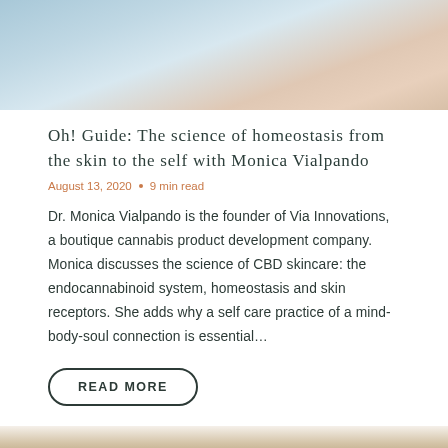[Figure (photo): Partial photo of a person, blurred background with light blue and skin tones, cropped at top of page]
Oh! Guide: The science of homeostasis from the skin to the self with Monica Vialpando
August 13, 2020 • 9 min read
Dr. Monica Vialpando is the founder of Via Innovations, a boutique cannabis product development company. Monica discusses the science of CBD skincare: the endocannabinoid system, homeostasis and skin receptors. She adds why a self care practice of a mind-body-soul connection is essential…
READ MORE
[Figure (photo): Partial photo at bottom of page, blurred background with warm beige and brown tones, cropped]